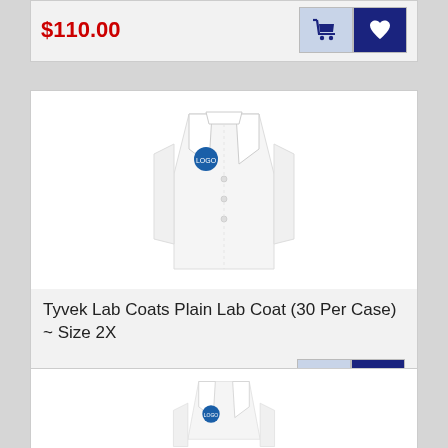$110.00
[Figure (photo): White Tyvek lab coat product photo on white background, with blue logo patch on chest]
Tyvek Lab Coats Plain Lab Coat (30 Per Case) ~ Size 2X
$114.00
[Figure (photo): White Tyvek lab coat product photo on white background, with blue logo patch on chest (second item, partially visible)]